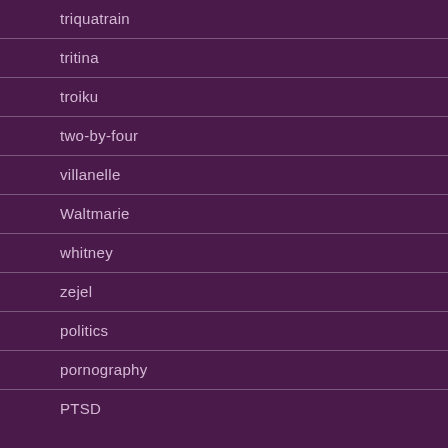triquatrain
tritina
troiku
two-by-four
villanelle
Waltmarie
whitney
zejel
politics
pornography
PTSD